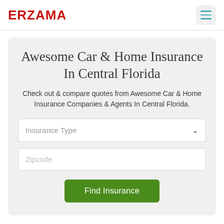ERZAMA
Awesome Car & Home Insurance In Central Florida
Check out & compare quotes from Awesome Car & Home Insurance Companies & Agents In Central Florida.
Insurance Type
Zipcode
Find Insurance